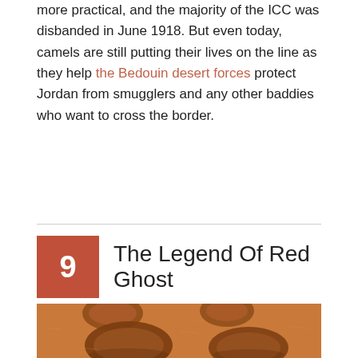more practical, and the majority of the ICC was disbanded in June 1918. But even today, camels are still putting their lives on the line as they help the Bedouin desert forces protect Jordan from smugglers and any other baddies who want to cross the border.
9  The Legend Of Red Ghost
[Figure (photo): Close-up photograph of camel footprints in reddish-orange sand, showing deep oval impressions in the sandy desert ground.]